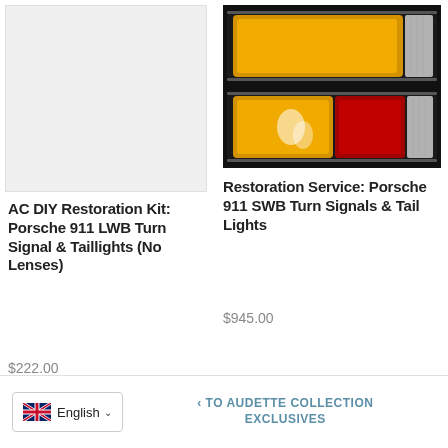[Figure (photo): Light gray placeholder image for AC DIY Restoration Kit product]
AC DIY Restoration Kit: Porsche 911 LWB Turn Signal & Taillights (No Lenses)
$222.00
[Figure (photo): Photo of two Porsche 911 SWB turn signals and tail lights with amber and red lenses on dark background]
Restoration Service: Porsche 911 SWB Turn Signals & Tail Lights
$945.00
English  ‹ TO AUDETTE COLLECTION EXCLUSIVES